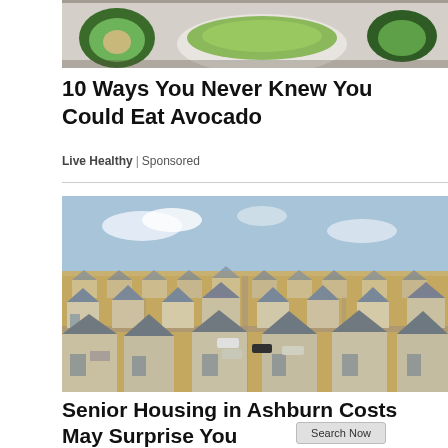[Figure (photo): Photo of avocados and guacamole in a white bowl on a wooden surface]
10 Ways You Never Knew You Could Eat Avocado
Live Healthy | Sponsored
[Figure (photo): Aerial photo of a suburban housing development with many houses and streets]
Senior Housing in Ashburn Costs May Surprise You